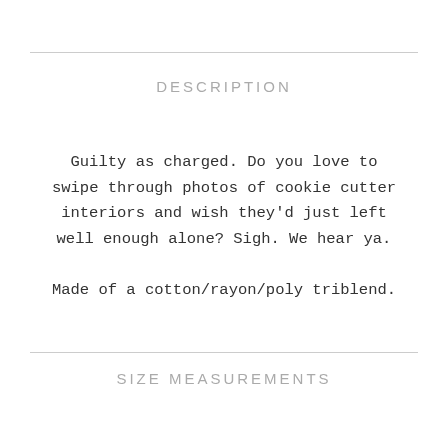DESCRIPTION
Guilty as charged. Do you love to swipe through photos of cookie cutter interiors and wish they'd just left well enough alone? Sigh. We hear ya.

Made of a cotton/rayon/poly triblend.
SIZE MEASUREMENTS